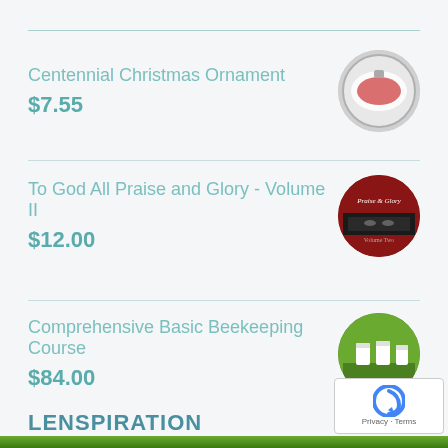Centennial Christmas Ornament
$7.55
To God All Praise and Glory - Volume II
$12.00
Comprehensive Basic Beekeeping Course
$84.00
LENSPIRATION
[Figure (photo): Green nature photo banner at bottom]
[Figure (photo): reCAPTCHA badge overlay in bottom right corner]